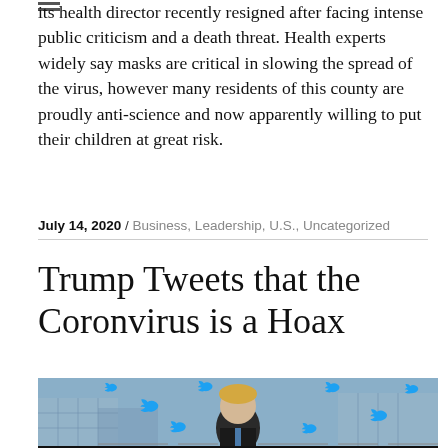its health director recently resigned after facing intense public criticism and a death threat. Health experts widely say masks are critical in slowing the spread of the virus, however many residents of this county are proudly anti-science and now apparently willing to put their children at great risk.
July 14, 2020 / Business, Leadership, U.S., Uncategorized
Trump Tweets that the Coronvirus is a Hoax
[Figure (photo): Photo of a man with blond hair surrounded by multiple Twitter bird logos overlaid on a background resembling the White House exterior]